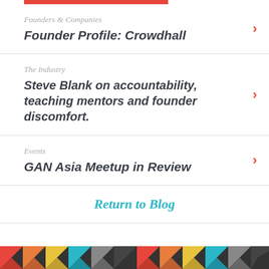[Figure (other): Red horizontal bar at top]
Founders & Companies | Founder Profile: Crowdhall
The Industry | Steve Blank on accountability, teaching mentors and founder discomfort.
Events | GAN Asia Meetup in Review
Return to Blog
[Figure (illustration): Colorful mosaic/chevron footer with red, orange, yellow, cyan, gray, and dark colors]